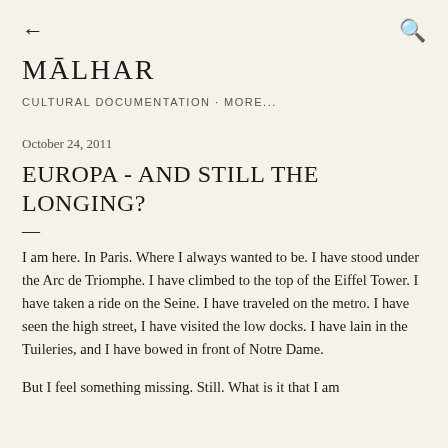← [back arrow]   [search icon]
MĀLHAR
CULTURAL DOCUMENTATION · MORE...
October 24, 2011
EUROPA - AND STILL THE LONGING?
—
I am here. In Paris. Where I always wanted to be. I have stood under the Arc de Triomphe. I have climbed to the top of the Eiffel Tower. I have taken a ride on the Seine. I have traveled on the metro. I have seen the high street, I have visited the low docks. I have lain in the Tuileries, and I have bowed in front of Notre Dame.
But I feel something missing. Still. What is it that I am